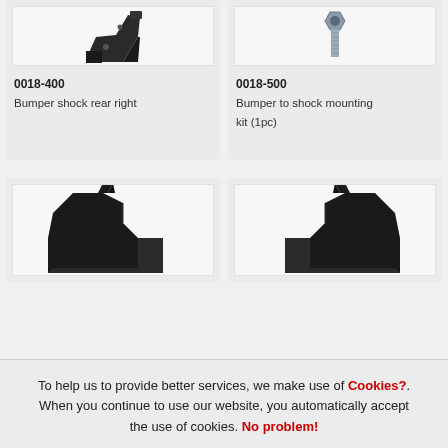[Figure (photo): Product image of bumper shock rear right bracket (dark metal part), cropped at top]
0018-400
Bumper shock rear right
[Figure (photo): Product image of bumper to shock mounting kit bolt/hardware, cropped at top]
0018-500
Bumper to shock mounting kit (1pc)
[Figure (photo): Product image showing black metal bumper bracket with pointed tab, partially cropped at bottom]
[Figure (photo): Product image showing black metal bumper bracket with pointed tab, partially cropped at bottom]
To help us to provide better services, we make use of Cookies?.
When you continue to use our website, you automatically accept the use of cookies. No problem!